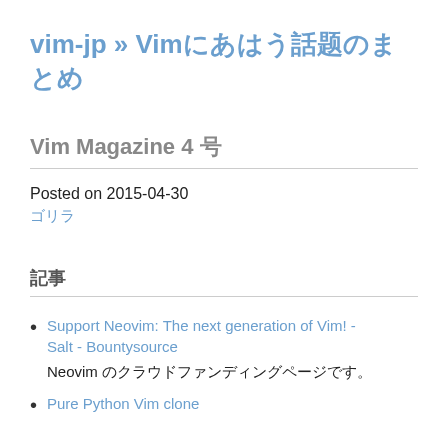vim-jp » Vimに関する話題のまとめ
Vim Magazine 4 号
Posted on 2015-04-30
ゴリラ
記事
Support Neovim: The next generation of Vim! - Salt - Bountysource
Neovim のクラウドファンディングページです。
Pure Python Vim clone